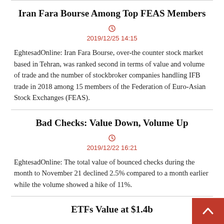Iran Fara Bourse Among Top FEAS Members
2019/12/25 14:15
EghtesadOnline: Iran Fara Bourse, over-the counter stock market based in Tehran, was ranked second in terms of value and volume of trade and the number of stockbroker companies handling IFB trade in 2018 among 15 members of the Federation of Euro-Asian Stock Exchanges (FEAS).
Bad Checks: Value Down, Volume Up
2019/12/22 16:21
EghtesadOnline: The total value of bounced checks during the month to November 21 declined 2.5% compared to a month earlier while the volume showed a hike of 11%.
ETFs Value at $1.4b